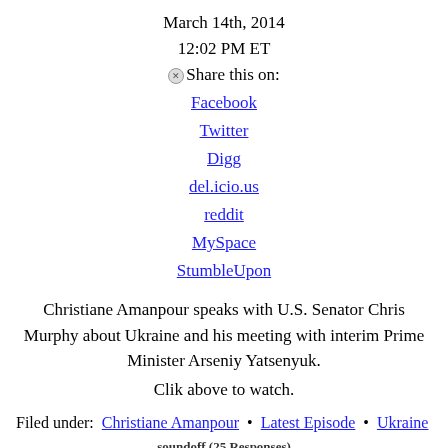March 14th, 2014
12:02 PM ET
Share this on:
Facebook
Twitter
Digg
del.icio.us
reddit
MySpace
StumbleUpon
Christiane Amanpour speaks with U.S. Senator Chris Murphy about Ukraine and his meeting with interim Prime Minister Arseniy Yatsenyuk.
Clik above to watch.
Filed under: Christiane Amanpour • Latest Episode • Ukraine
soundoff (25 Responses)
1. Stephan Mullaly
hi there i stumbled upon your website searching around the